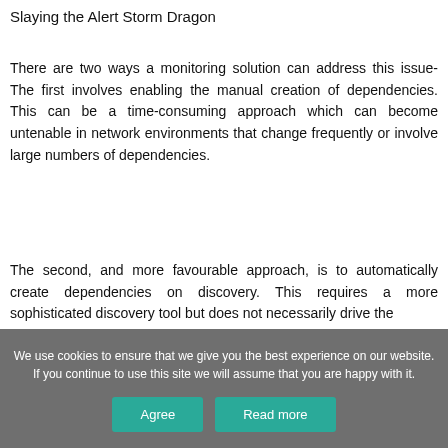Slaying the Alert Storm Dragon
There are two ways a monitoring solution can address this issue- The first involves enabling the manual creation of dependencies. This can be a time-consuming approach which can become untenable in network environments that change frequently or involve large numbers of dependencies.
The second, and more favourable approach, is to automatically create dependencies on discovery. This requires a more sophisticated discovery tool but does not necessarily drive the
We use cookies to ensure that we give you the best experience on our website. If you continue to use this site we will assume that you are happy with it.
Agree
Read more